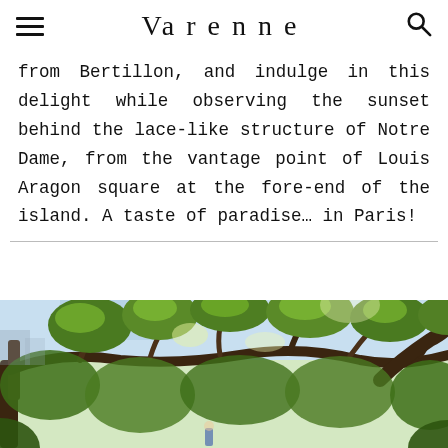Varenne
from Bertillon, and indulge in this delight while observing the sunset behind the lace-like structure of Notre Dame, from the vantage point of Louis Aragon square at the fore-end of the island. A taste of paradise… in Paris!
[Figure (photo): Looking up through green leafy tree branches with sunlight filtering through, urban Paris setting visible in background]